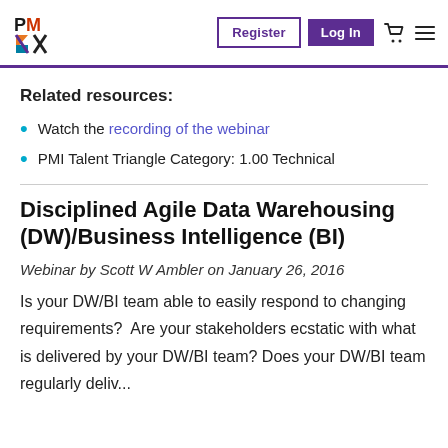PMI | Register | Log In
Related resources:
Watch the recording of the webinar
PMI Talent Triangle Category: 1.00 Technical
Disciplined Agile Data Warehousing (DW)/Business Intelligence (BI)
Webinar by Scott W Ambler on January 26, 2016
Is your DW/BI team able to easily respond to changing requirements?  Are your stakeholders ecstatic with what is delivered by your DW/BI team? Does your DW/BI team regularly deliver...